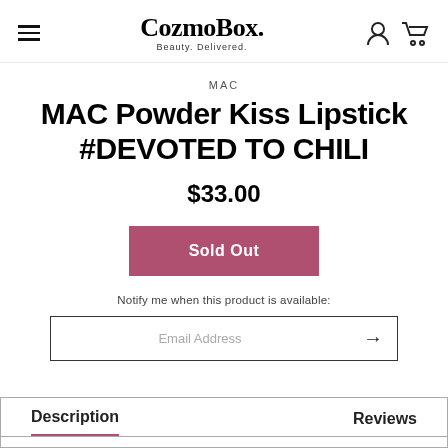CozmoBox. Beauty. Delivered.
MAC
MAC Powder Kiss Lipstick #DEVOTED TO CHILI
$33.00
Sold Out
Notify me when this product is available:
Email Address
Description
Reviews